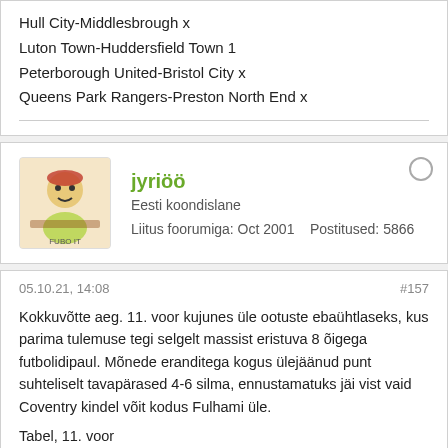Hull City-Middlesbrough x
Luton Town-Huddersfield Town 1
Peterborough United-Bristol City x
Queens Park Rangers-Preston North End x
jyriöö
Eesti koondislane
Liitus foorumiga: Oct 2001    Postitused: 5866
05.10.21, 14:08    #157
Kokkuvõtte aeg. 11. voor kujunes üle ootuste ebaühtlaseks, kus parima tulemuse tegi selgelt massist eristuva 8 õigega futbolidipaul. Mõnede eranditega kogus ülejäänud punt suhteliselt tavapärased 4-6 silma, ennustamatuks jäi vist vaid Coventry kindel võit kodus Fulhami üle.
Tabel, 11. voor
1. jyriöö (+4) - 60p
2. maamesilane (+4) - 58p
3. moya (+2) - 55p